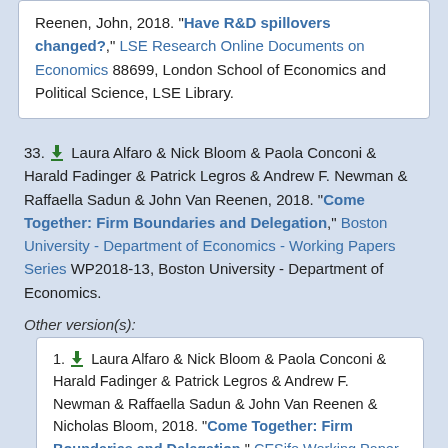Reenen, John, 2018. "Have R&D spillovers changed?," LSE Research Online Documents on Economics 88699, London School of Economics and Political Science, LSE Library.
33. Laura Alfaro & Nick Bloom & Paola Conconi & Harald Fadinger & Patrick Legros & Andrew F. Newman & Raffaella Sadun & John Van Reenen, 2018. "Come Together: Firm Boundaries and Delegation," Boston University - Department of Economics - Working Papers Series WP2018-13, Boston University - Department of Economics.
Other version(s):
1. Laura Alfaro & Nick Bloom & Paola Conconi & Harald Fadinger & Patrick Legros & Andrew F. Newman & Raffaella Sadun & John Van Reenen & Nicholas Bloom, 2018. "Come Together: Firm Boundaries and Delegation," CESifo Working Paper Series 7054, CESifo.